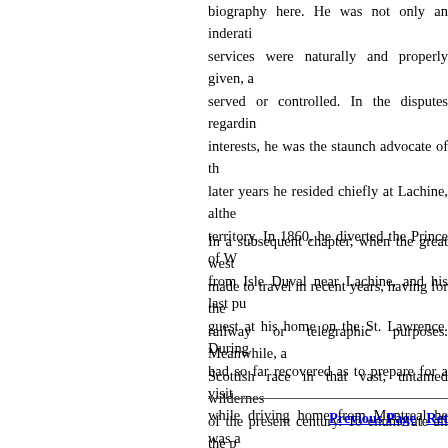biography here. He was not only an indefatig services were naturally and properly given, a served or controlled. In the disputes regardin interests, he was the staunch advocate of th later years he resided chiefly at Lachine, alth territory. In 1860, he diverted the Prince of W from Isle Duval near Lachine, and his last pu guest at his home on the St. Lawrence. During had so far recovered as to prepare for a visit while driving home from Montreal he was a September, 1860. [Morgan: Celebrated Canad
In a subsequent chapter, when the great west made to travel in recent years, having for the railway or telegraphic purposes. Meanwhile, a Scottish race in that vast, untamed wilderness of the present century. To enumerate all the p of British territory would be out of the question any of the books cited here, or others, such as in the Hudson Bay Territory," quoted by some West of British North America was taken poss indomitable perseverance, and first drawn tow energy and intelligence.
Previous Page | Ret